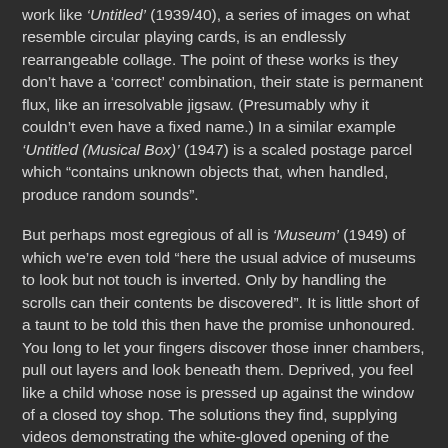work like 'Untitled' (1939/40), a series of images on what resemble circular playing cards, is an endlessly rearrangeable collage. The point of these works is they don't have a 'correct' combination, their state is permanent flux, like an irresolvable jigsaw. (Presumably why it couldn't even have a fixed name.) In a similar example 'Untitled (Musical Box)' (1947) is a scaled postage parcel which "contains unknown objects that, when handled, produce random sounds".
But perhaps most egregious of all is 'Museum' (1949) of which we're even told "here the usual advice of museums to look but not touch is inverted. Only by handling the scrolls can their contents be discovered". It is little short of a taunt to be told this then have the promise unhonoured. You long to let your fingers discover those inner chambers, pull out layers and look beneath them. Deprived, you feel like a child whose nose is pressed up against the window of a closed toy shop. The solutions they find, supplying videos demonstrating the white-gloved opening of the objects or sound recordings of the Musical Box, are inadequate workarounds and just make the sealed-off prospect of the